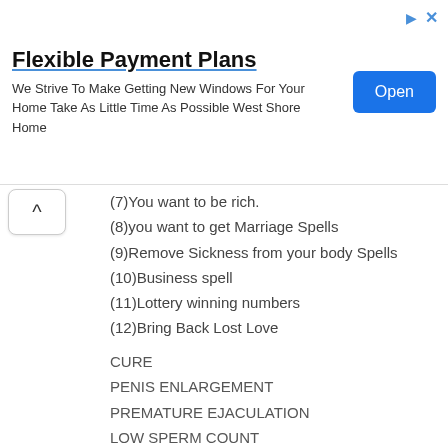[Figure (other): Advertisement banner for Flexible Payment Plans - West Shore Home windows service. Contains bold title 'Flexible Payment Plans', body text 'We Strive To Make Getting New Windows For Your Home Take As Little Time As Possible West Shore Home', and a blue 'Open' button. Has play and close icons at top right.]
(7)You want to be rich.
(8)you want to get Marriage Spells
(9)Remove Sickness from your body Spells
(10)Business spell
(11)Lottery winning numbers
(12)Bring Back Lost Love
CURE
PENIS ENLARGEMENT
PREMATURE EJACULATION
LOW SPERM COUNT
ERECTILE DYSFUNCTION
HIV/AIDS CURE
HERPES CURE
INFECTION CURE
PILE
STROKE
HEART FAILURE